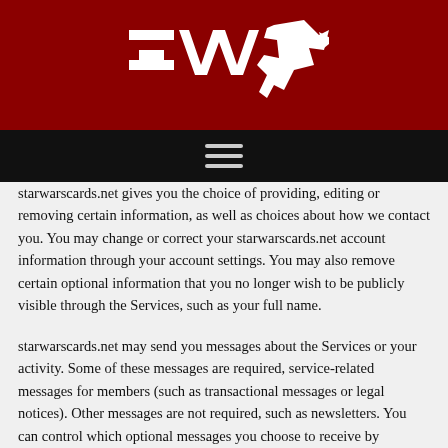[Figure (logo): Star Wars Cards (SWC) logo in white on dark red background — stylized 'SWC' letters with a bird/falcon head graphic]
[Figure (other): Hamburger menu icon (three horizontal lines) on black navigation bar]
starwarscards.net gives you the choice of providing, editing or removing certain information, as well as choices about how we contact you. You may change or correct your starwarscards.net account information through your account settings. You may also remove certain optional information that you no longer wish to be publicly visible through the Services, such as your full name.
starwarscards.net may send you messages about the Services or your activity. Some of these messages are required, service-related messages for members (such as transactional messages or legal notices). Other messages are not required, such as newsletters. You can control which optional messages you choose to receive by changing your account settings.